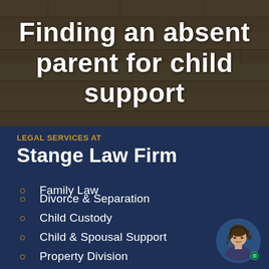Finding an absent parent for child support
LEGAL SERVICES AT
Stange Law Firm
Family Law
Divorce & Separation
Child Custody
Child & Spousal Support
Property Division
[Figure (photo): Circular avatar photo of a woman with a headset microphone, smiling, with a green online indicator dot in the bottom right corner.]